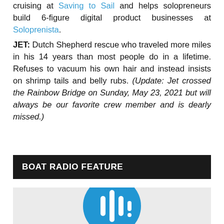cruising at Saving to Sail and helps solopreneurs build 6-figure digital product businesses at Soloprenista.
JET: Dutch Shepherd rescue who traveled more miles in his 14 years than most people do in a lifetime. Refuses to vacuum his own hair and instead insists on shrimp tails and belly rubs. (Update: Jet crossed the Rainbow Bridge on Sunday, May 23, 2021 but will always be our favorite crew member and is dearly missed.)
BOAT RADIO FEATURE
[Figure (logo): Podcast microphone waveform icon — white vertical bars on a blue circle, on a light gray background]